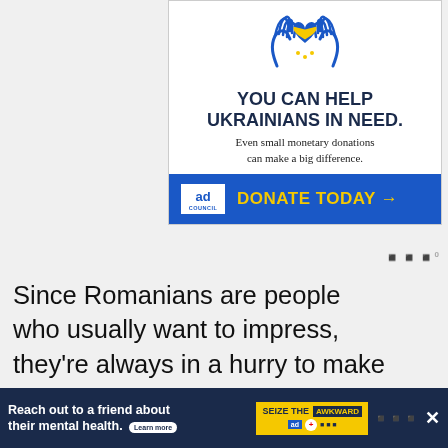[Figure (illustration): Ad banner: Ukraine support charity ad with hands holding a heart icon in Ukrainian blue and yellow colors. Headline: YOU CAN HELP UKRAINIANS IN NEED. Subtext: Even small monetary donations can make a big difference. Blue donate bar with Ad Council logo and DONATE TODAY arrow button in yellow.]
Since Romanians are people who usually want to impress, they're always in a hurry to make more money and live a better life. This could be a positive thing, but also comes with negatives, meaning th. Romanians are usually upset and grumpy and... em than
[Figure (infographic): Bottom ad bar: 'Reach out to a friend about their mental health. Learn more' with 'SEIZE THE AWKWARD' badge in yellow, ad council logos, mute icon, and close X button.]